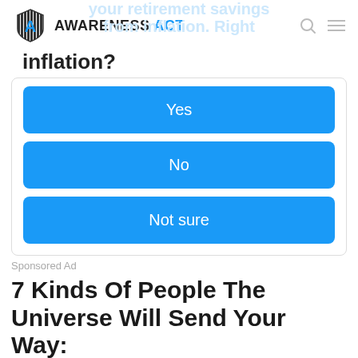AWARENESS ACT
inflation?
[Figure (infographic): Interactive ad with Yes, No, Not sure buttons on blue background]
Sponsored Ad
7 Kinds Of People The Universe Will Send Your Way:
1. The Heartbreakers